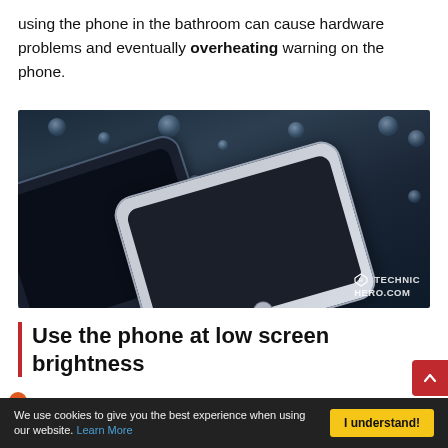using the phone in the bathroom can cause hardware problems and eventually overheating warning on the phone.
[Figure (photo): Two smartphones (one dark/black, one white) lying on a wet dark surface with water droplets, watermark reading TECHNIC HERO.COM]
Use the phone at low screen brightness
The higher the screen brightness on your phone, the warmer device will be. For this, it will be useful to increase the
We use cookies to give you the best experience when using our website. Learn More
I understand!